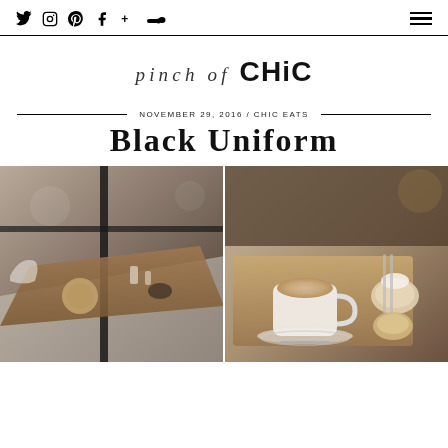Social icons: Twitter, Instagram, Pinterest, Facebook, Plus, SoundCloud | Hamburger menu
PINCH OF CHIC
NOVEMBER 29, 2016 / CHIC EATS
Black Uniform
[Figure (photo): Left photo: Interior cafe/restaurant scene shot from above, showing wooden table with glasses and accessories, black metal window frame visible, moody warm tones. Right photo: Close-up of a latte in a white cup on a wooden tray with pastries/desserts beside it, soft warm tones.]